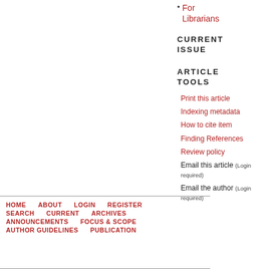For Librarians
CURRENT ISSUE
ARTICLE TOOLS
Print this article
Indexing metadata
How to cite item
Finding References
Review policy
Email this article (Login required)
Email the author (Login required)
HOME   ABOUT   LOGIN   REGISTER   SEARCH   CURRENT   ARCHIVES   ANNOUNCEMENTS   FOCUS & SCOPE   AUTHOR GUIDELINES   PUBLICATION